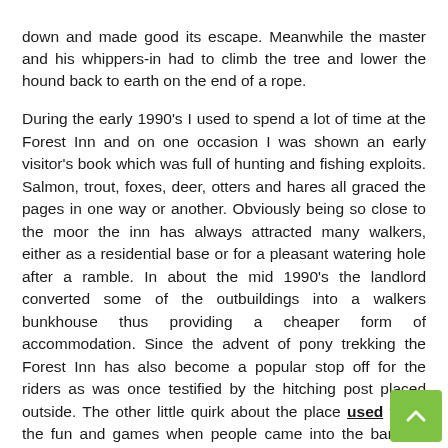down and made good its escape. Meanwhile the master and his whippers-in had to climb the tree and lower the hound back to earth on the end of a rope.
During the early 1990's I used to spend a lot of time at the Forest Inn and on one occasion I was shown an early visitor's book which was full of hunting and fishing exploits. Salmon, trout, foxes, deer, otters and hares all graced the pages in one way or another. Obviously being so close to the moor the inn has always attracted many walkers, either as a residential base or for a pleasant watering hole after a ramble. In about the mid 1990's the landlord converted some of the outbuildings into a walkers bunkhouse thus providing a cheaper form of accommodation. Since the advent of pony trekking the Forest Inn has also become a popular stop off for the riders as was once testified by the hitching post placed outside. The other little quirk about the place used to be the fun and games when people came into the bar and asked for a public phone. Regardless of the weather they would be directed to the phone box which stands on the roadside opposite. The monopoly on telecommunications lies very much with the landlord as the mobile network coverage is